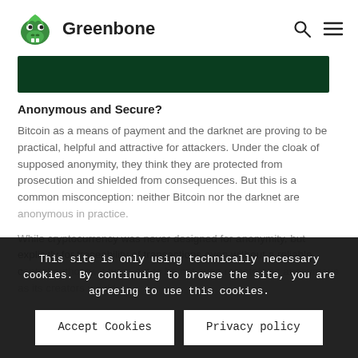Greenbone
[Figure (photo): Dark green banner image]
Anonymous and Secure?
Bitcoin as a means of payment and the darknet are proving to be practical, helpful and attractive for attackers. Under the cloak of supposed anonymity, they think they are protected from prosecution and shielded from consequences. But this is a common misconception: neither Bitcoin nor the darknet are anonymous in practice.
While cryptocurrency was never designed for anonymity, but explicitly for traceability of transactions even without a reliable central authority, it turns out to be not even remotely as anonymous as its creators would
This site is only using technically necessary cookies. By continuing to browse the site, you are agreeing to use this cookies.